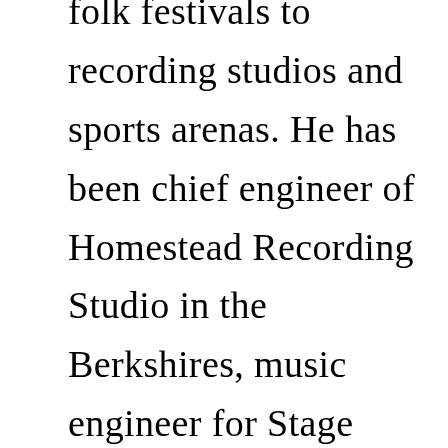folk festivals to recording studios and sports arenas. He has been chief engineer of Homestead Recording Studio in the Berkshires, music engineer for Stage West in Springfield MA, and head of sound design at South Lakes High School. Even after transitioning from pro audio to computer science, Dennis has maintained his connection to music and theatre. His greatest joy is blending voices in performance